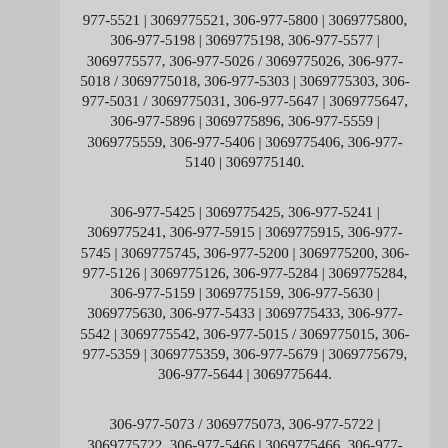977-5521 | 3069775521, 306-977-5800 | 3069775800, 306-977-5198 | 3069775198, 306-977-5577 | 3069775577, 306-977-5026 / 3069775026, 306-977-5018 / 3069775018, 306-977-5303 | 3069775303, 306-977-5031 / 3069775031, 306-977-5647 | 3069775647, 306-977-5896 | 3069775896, 306-977-5559 | 3069775559, 306-977-5406 | 3069775406, 306-977-5140 | 3069775140.
306-977-5425 | 3069775425, 306-977-5241 | 3069775241, 306-977-5915 | 3069775915, 306-977-5745 | 3069775745, 306-977-5200 | 3069775200, 306-977-5126 | 3069775126, 306-977-5284 | 3069775284, 306-977-5159 | 3069775159, 306-977-5630 | 3069775630, 306-977-5433 | 3069775433, 306-977-5542 | 3069775542, 306-977-5015 / 3069775015, 306-977-5359 | 3069775359, 306-977-5679 | 3069775679, 306-977-5644 | 3069775644.
306-977-5073 / 3069775073, 306-977-5722 | 3069775722, 306-977-5466 | 3069775466, 306-977-5965 | 3069775965, 306-977-5957 | 3069775957, 306-977-5496 | 3069775496, 306-